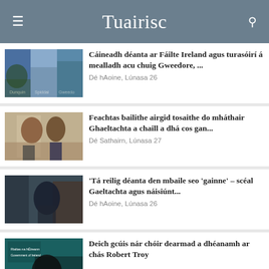Tuairisc
Cáineadh déanta ar Fáilte Ireland agus turasóirí á mealladh acu chuig Gweedore, ...
Dé hAoine, Lúnasa 26
Feachtas bailithe airgid tosaithe do mháthair Ghaeltachta a chaill a dhá cos gan...
Dé Sathairn, Lúnasa 27
'Tá reilig déanta den mbaile seo 'gainne' – scéal Gaeltachta agus náisiúnt...
Dé hAoine, Lúnasa 26
Deich gcúis nár chóir dearmad a dhéanamh ar chás Robert Troy
Dé Sathairn, Lúnasa 27
TAISTEAL: Deichniúr faoi dhion i...